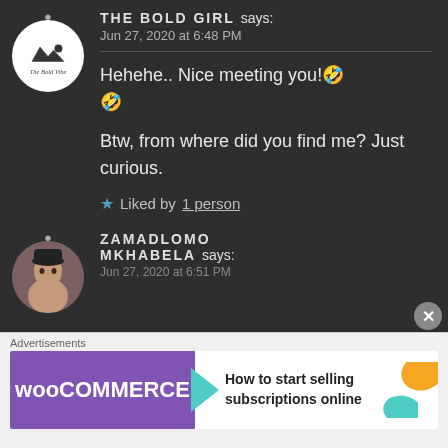THE BOLD GIRL says: Jun 27, 2020 at 6:48 PM
Hehehe.. Nice meeting you!🤗🤗
Btw, from where did you find me? Just curious.
★ Liked by 1 person
ZAMADLOMO MKHABELA says:
Jun 27, 2020 at 6:51 PM
[Figure (screenshot): WooCommerce advertisement banner: 'How to start selling subscriptions online']